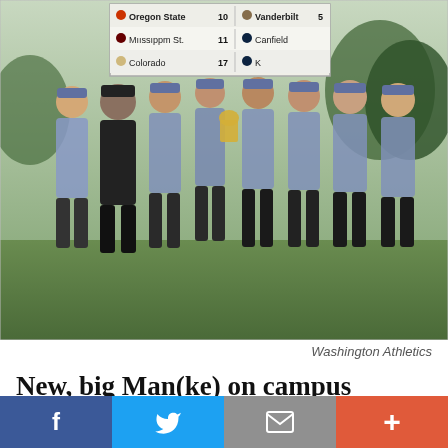[Figure (photo): Group photo of Washington Huskies golf team posing in front of a scoreboard showing scores: Oregon State 10, Mississippi St. 11, Colorado 17 on left; Vanderbilt 5, Notre Dame (Canfield/K) on right. Eight men in matching blue patterned polo shirts, one in black, one player holding a trophy.]
Washington Athletics
New, big Man(ke) on campus
While Washington grad student R.J. Manke was putting together a winning individual performance at the Fighting Irish Classic in South Bend, Indiana, he was also keeping tabs on what was going on down in Fort Worth, Texas. Competing at Colonial Country Club was Pepperdine, Manke's former